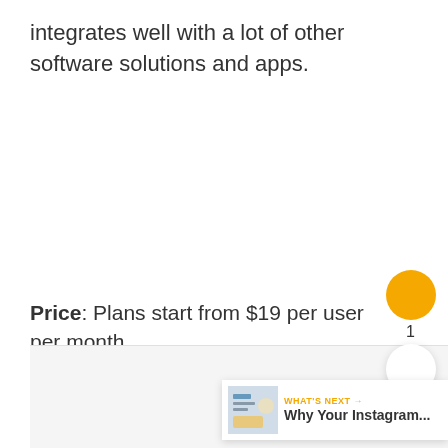integrates well with a lot of other software solutions and apps.
Price: Plans start from $19 per user per month.
[Figure (screenshot): Gray content box at bottom of page]
[Figure (other): Heart/like button (orange circle with heart icon) with count 1, and share button below]
[Figure (other): What's Next banner with orange arrow, thumbnail image, and text 'Why Your Instagram...']